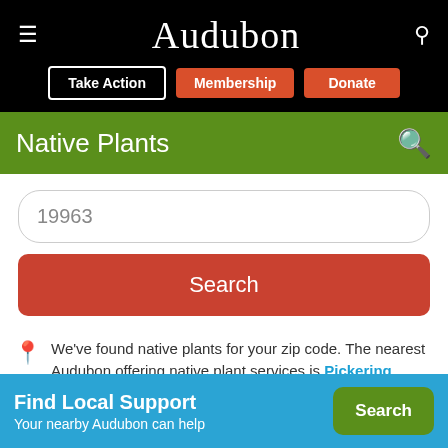Audubon
Take Action | Membership | Donate
Native Plants
19963
Search
We've found native plants for your zip code. The nearest Audubon offering native plant services is Pickering Creek Audubon Center in Easton, MD. They can help.
Find Local Support
Your nearby Audubon can help